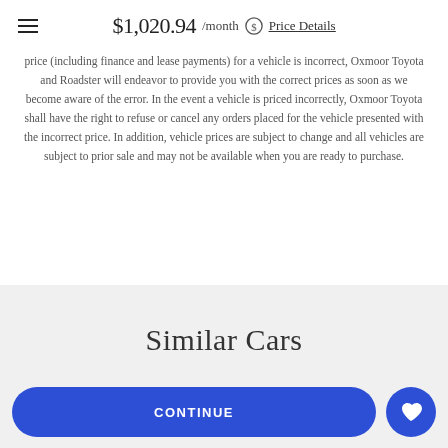$1,020.94 /month Price Details
price (including finance and lease payments) for a vehicle is incorrect, Oxmoor Toyota and Roadster will endeavor to provide you with the correct prices as soon as we become aware of the error. In the event a vehicle is priced incorrectly, Oxmoor Toyota shall have the right to refuse or cancel any orders placed for the vehicle presented with the incorrect price. In addition, vehicle prices are subject to change and all vehicles are subject to prior sale and may not be available when you are ready to purchase.
Similar Cars